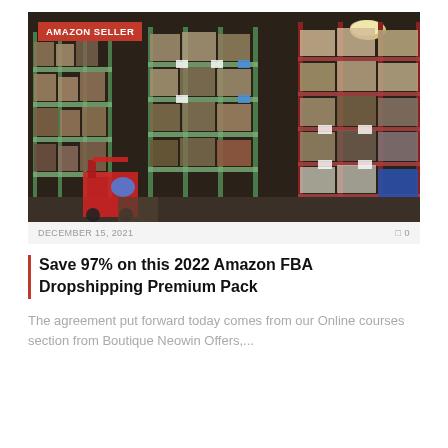[Figure (photo): Warehouse interior with tall metal shelving racks filled with boxes and pallets of goods, with a forklift visible at the bottom left. A red badge overlay reads 'AMAZON SELLER'.]
DECEMBER 15, 2021   0
Save 97% on this 2022 Amazon FBA Dropshipping Premium Pack
The agreement put forward today comes from our Online courses section from Boutique Neowin Offers,...